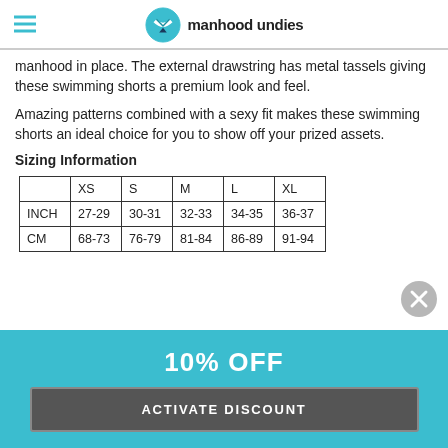manhood undies
manhood in place. The external drawstring has metal tassels giving these swimming shorts a premium look and feel.
Amazing patterns combined with a sexy fit makes these swimming shorts an ideal choice for you to show off your prized assets.
Sizing Information
|  | XS | S | M | L | XL |
| --- | --- | --- | --- | --- | --- |
| INCH | 27-29 | 30-31 | 32-33 | 34-35 | 36-37 |
| CM | 68-73 | 76-79 | 81-84 | 86-89 | 91-94 |
10% OFF
ACTIVATE DISCOUNT